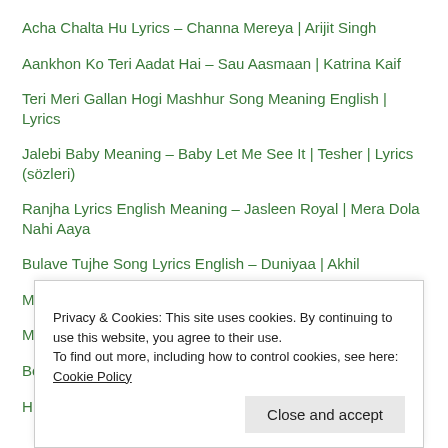Acha Chalta Hu Lyrics – Channa Mereya | Arijit Singh
Aankhon Ko Teri Aadat Hai – Sau Aasmaan | Katrina Kaif
Teri Meri Gallan Hogi Mashhur Song Meaning English | Lyrics
Jalebi Baby Meaning – Baby Let Me See It | Tesher | Lyrics (sözleri)
Ranjha Lyrics English Meaning – Jasleen Royal | Mera Dola Nahi Aaya
Bulave Tujhe Song Lyrics English – Duniyaa | Akhil
Mahi Mainu Chadyo Na – Ve Maahi | Arijit Singh
Mila Jo Sang Tera – Makhna Ve | Sushant Singh Rajput
Bolna – Arijit Singh | Chuteya Na Chute Mose
Privacy & Cookies: This site uses cookies. By continuing to use this website, you agree to their use. To find out more, including how to control cookies, see here: Cookie Policy
Close and accept